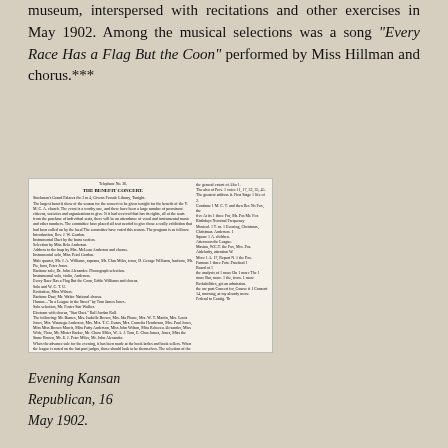museum, interspersed with recitations and other exercises in May 1902. Among the musical selections was a song "Every Race Has a Flag But the Coon" performed by Miss Hillman and chorus.***
[Figure (photo): Scanned newspaper clipping showing a concert program or review from the Evening Kansan Republican, 16 May 1902, with small printed text in two columns describing a benefit concert program with various musical and other acts.]
Evening Kansan Republican, 16 May 1902.